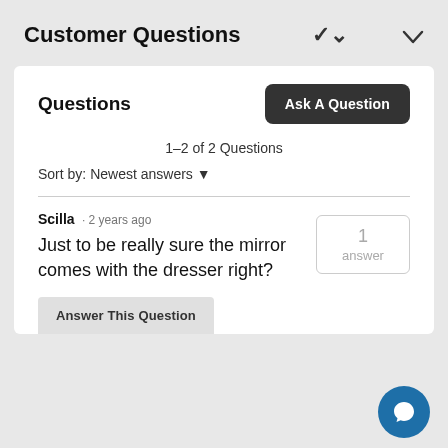Customer Questions
Questions
1–2 of 2 Questions
Sort by: Newest answers ▼
Scilla · 2 years ago
Just to be really sure the mirror comes with the dresser right?
1 answer
Answer This Question